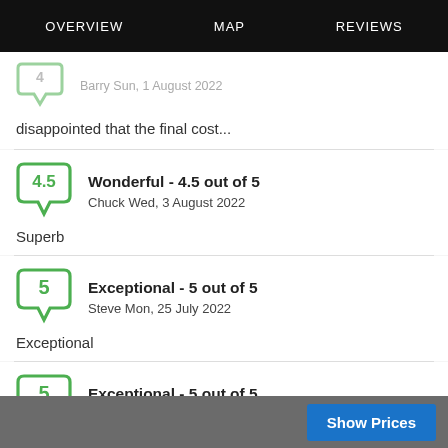OVERVIEW   MAP   REVIEWS
Barry Sun, 1 August 2022
disappointed that the final cost...
Wonderful - 4.5 out of 5
Chuck Wed, 3 August 2022
Superb
Exceptional - 5 out of 5
Steve Mon, 25 July 2022
Exceptional
Exceptional - 5 out of 5
Kim Sun, 24 July 2022
Show Prices